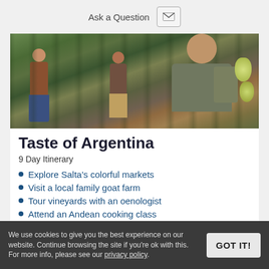Ask a Question
[Figure (photo): People harvesting grapes in a vineyard, close-up of hands picking grapes from vines]
Taste of Argentina
9 Day Itinerary
Explore Salta's colorful markets
Visit a local family goat farm
Tour vineyards with an oenologist
Attend an Andean cooking class
We use cookies to give you the best experience on our website. Continue browsing the site if you're ok with this. For more info, please see our privacy policy.